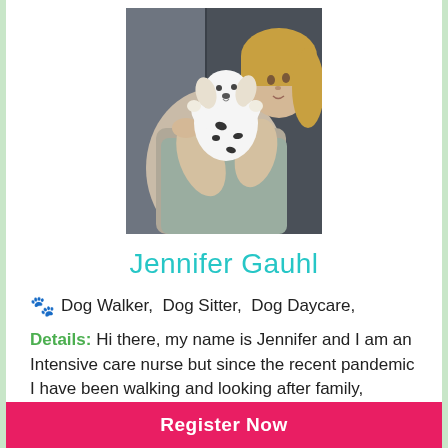[Figure (photo): A woman with blonde hair holding and examining a small Dalmatian puppy against a dark grey background]
Jennifer Gauhl
🐾 Dog Walker, Dog Sitter, Dog Daycare,
Details: Hi there, my name is Jennifer and I am an Intensive care nurse but since the recent pandemic I have been walking and looking after family, friends dogs when they need help. I considerate my
Register Now